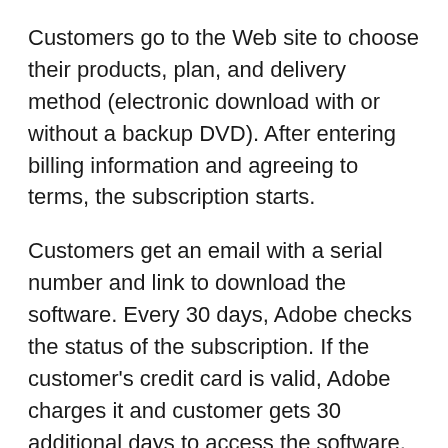Customers go to the Web site to choose their products, plan, and delivery method (electronic download with or without a backup DVD). After entering billing information and agreeing to terms, the subscription starts.
Customers get an email with a serial number and link to download the software. Every 30 days, Adobe checks the status of the subscription. If the customer's credit card is valid, Adobe charges it and customer gets 30 additional days to access the software, along with a monthly receipt. If Adobe can't charge the card or the subscription was cancelled, the customer gets a 5-day grace period, otherwise access to software will end.
Not all software is available for subscription purchase, but all of the major suite bundles are (see